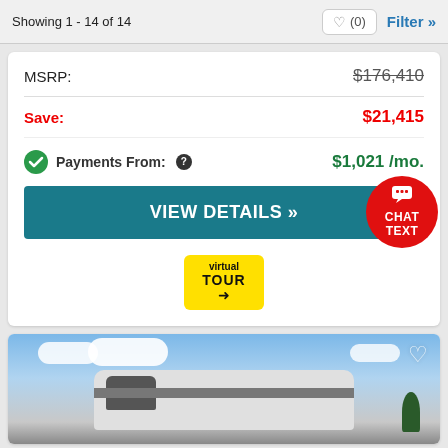Showing 1 - 14 of 14
| Label | Value |
| --- | --- |
| MSRP: | $176,410 |
| Save: | $21,415 |
| Payments From: | $1,021 /mo. |
VIEW DETAILS »
[Figure (screenshot): Virtual Tour badge with yellow background and arrow graphic]
[Figure (photo): Photo of an RV motorhome against a blue sky with clouds and a tree in the background]